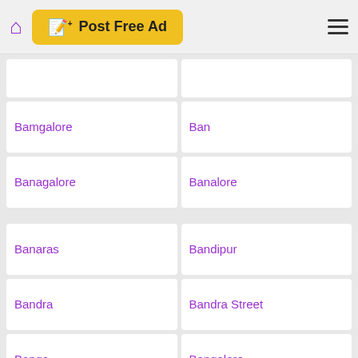Post Free Ad
Bamgalore
Ban
Banagalore
Banalore
Banaras
Bandipur
Bandra
Bandra Street
Banga
Bangalore
Bangalore Karnataka
Bangalore 560060
Bangalore City
Bangalore Karnataka
Bangalore North
Bangalore Padmanabhnagar